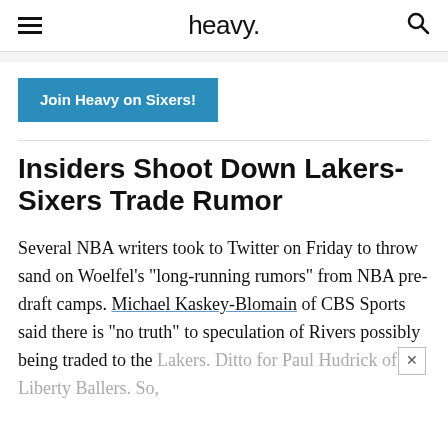heavy.
Join Heavy on Sixers!
Insiders Shoot Down Lakers-Sixers Trade Rumor
Several NBA writers took to Twitter on Friday to throw sand on Woelfel’s “long-running rumors” from NBA pre-draft camps. Michael Kaskey-Blomain of CBS Sports said there is “no truth” to speculation of Rivers possibly being traded to the Lakers. Ditto for Paul Hudrick of Liberty Ballers. So,